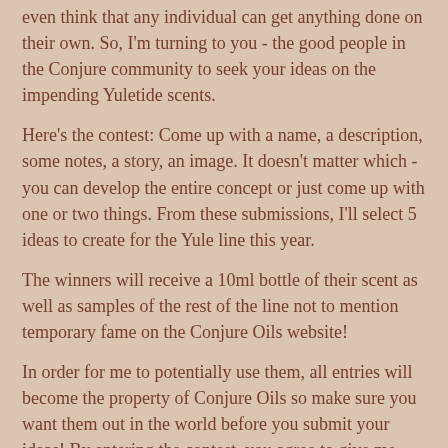even think that any individual can get anything done on their own. So, I'm turning to you - the good people in the Conjure community to seek your ideas on the impending Yuletide scents.
Here's the contest: Come up with a name, a description, some notes, a story, an image. It doesn't matter which - you can develop the entire concept or just come up with one or two things. From these submissions, I'll select 5 ideas to create for the Yule line this year.
The winners will receive a 10ml bottle of their scent as well as samples of the rest of the line not to mention temporary fame on the Conjure Oils website!
In order for me to potentially use them, all entries will become the property of Conjure Oils so make sure you want them out in the world before you submit your ideas! By entering the contest, you agree to give me permission to use your idea for production. If you don't want your name associated with your entry, let me know, ok? I'll respect your privacy.